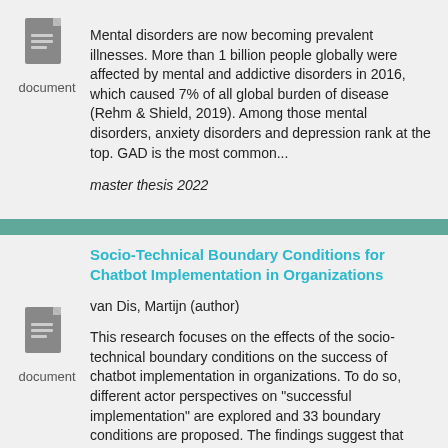Mental disorders are now becoming prevalent illnesses. More than 1 billion people globally were affected by mental and addictive disorders in 2016, which caused 7% of all global burden of disease (Rehm &amp; Shield, 2019). Among those mental disorders, anxiety disorders and depression rank at the top. GAD is the most common... master thesis 2022
Socio-Technical Boundary Conditions for Chatbot Implementation in Organizations
van Dis, Martijn (author)
This research focuses on the effects of the socio-technical boundary conditions on the success of chatbot implementation in organizations. To do so, different actor perspectives on "successful implementation" are explored and 33 boundary conditions are proposed. The findings suggest that satisfying the boundary conditions has a positive effect... master thesis 2022
Trust and Perceived Control in Burnout Support